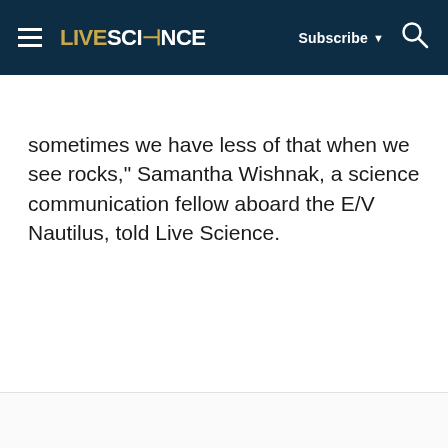LIVESCIENCE | Subscribe | Search
sometimes we have less of that when we see rocks," Samantha Wishnak, a science communication fellow aboard the E/V Nautilus, told Live Science.